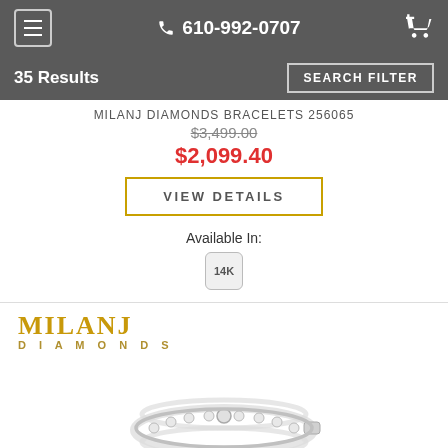610-992-0707
35 Results
SEARCH FILTER
MILANJ DIAMONDS BRACELETS 256065
$3,499.00
$2,099.40
VIEW DETAILS
Available In:
14K
[Figure (logo): Milanj Diamonds brand logo with 'MILANJ' in gold and 'DIAMONDS' in smaller gold letters below]
[Figure (photo): Diamond bracelet in white gold/silver with bezel-set round diamonds along the length]